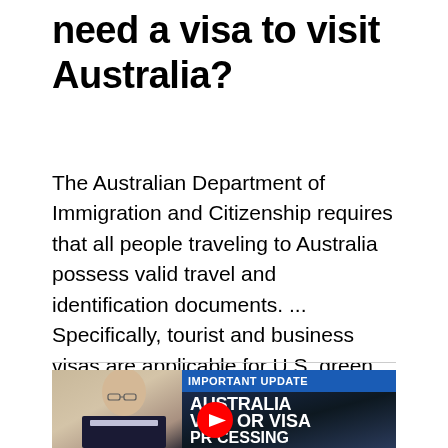need a visa to visit Australia?
The Australian Department of Immigration and Citizenship requires that all people traveling to Australia possess valid travel and identification documents. ... Specifically, tourist and business visas are applicable for U.S. green card holders traveling to Australia for a short period.
[Figure (screenshot): YouTube video thumbnail showing a man in a suit on the left, with a blue banner reading 'IMPORTANT UPDATE' and white bold text reading 'AUSTRALIA VISITOR VISA PROCESSING UPDATES' on a dark blue background. A red YouTube play button is visible in the center.]